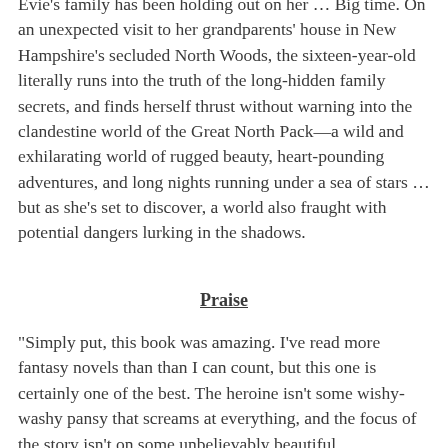Evie's family has been holding out on her … Big time. On an unexpected visit to her grandparents' house in New Hampshire's secluded North Woods, the sixteen-year-old literally runs into the truth of the long-hidden family secrets, and finds herself thrust without warning into the clandestine world of the Great North Pack—a wild and exhilarating world of rugged beauty, heart-pounding adventures, and long nights running under a sea of stars … but as she's set to discover, a world also fraught with potential dangers lurking in the shadows.
Praise
"Simply put, this book was amazing. I've read more fantasy novels than than I can count, but this one is certainly one of the best. The heroine isn't some wishy-washy pansy that screams at everything, and the focus of the story isn't on some unbelievably beautiful teenage girl, but she's more than pretty enough to attract...